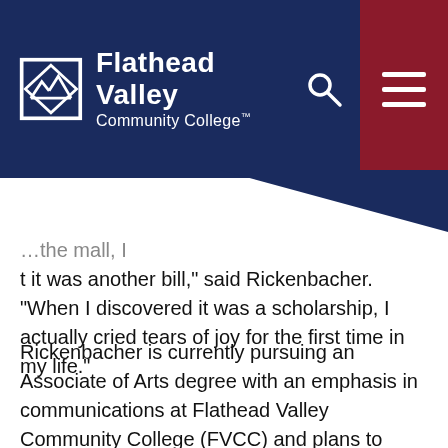[Figure (logo): Flathead Valley Community College logo with mountain/diamond icon, white text on navy background, search icon, and dark red hamburger menu button]
...the mall, I thought it was another bill," said Rickenbacher.  "When I discovered it was a scholarship, I actually cried tears of joy for the first time in my life."
Rickenbacher is currently pursuing an Associate of Arts degree with an emphasis in communications at Flathead Valley Community College (FVCC) and plans to transfer to The University of Montana to complete a bachelor's degree in the field.  Without scholarship assistance, this would have been a much more challenging pursuit for her.
Already one of the most affordable colleges in